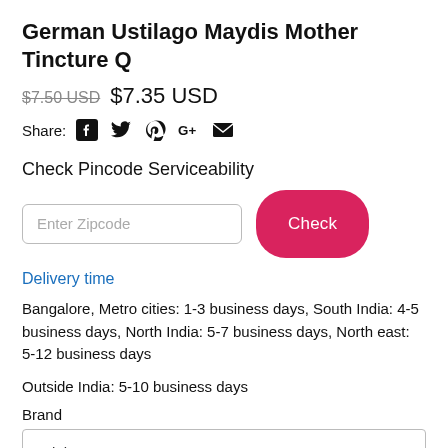German Ustilago Maydis Mother Tincture Q
$7.50 USD $7.35 USD
Share: [social icons: Facebook, Twitter, Pinterest, Google+, Email]
Check Pincode Serviceability
Enter Zipcode [Check button]
Delivery time
Bangalore, Metro cities: 1-3 business days, South India: 4-5 business days, North India: 5-7 business days, North east: 5-12 business days
Outside India: 5-10 business days
Brand
Adel Germany